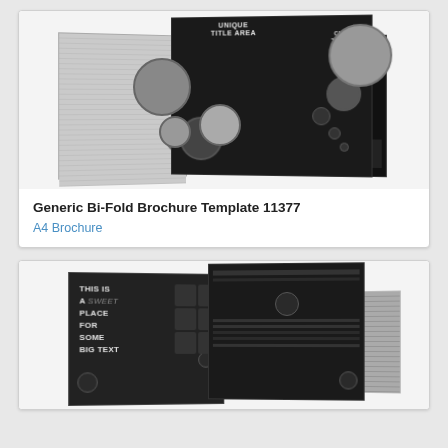[Figure (illustration): Bi-fold brochure mockup with light grey left page and dark right pages showing circles and 'UNIQUE TITLE AREA' and 'CREATIVE TITLE AREA' text]
Generic Bi-Fold Brochure Template 11377
A4 Brochure
[Figure (illustration): Dark bi-fold brochure mockup with large text 'THIS IS A SWEET PLACE FOR SOME BIG TEXT' on left panel and dark interior panels with icon circles]